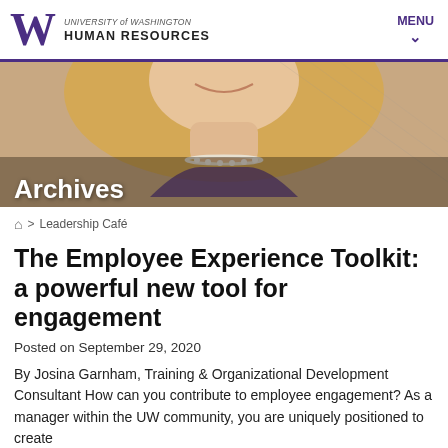UNIVERSITY of WASHINGTON HUMAN RESOURCES | MENU
[Figure (photo): Smiling woman with blonde hair wearing a pearl necklace and purple top, serving as a hero/banner image with 'Archives' text overlay]
🏠 > Leadership Café
The Employee Experience Toolkit: a powerful new tool for engagement
Posted on September 29, 2020
By Josina Garnham, Training & Organizational Development Consultant How can you contribute to employee engagement? As a manager within the UW community, you are uniquely positioned to create